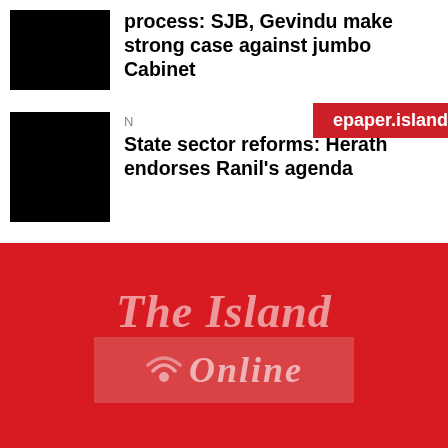[Figure (photo): Black thumbnail image for first article]
process: SJB, Gevindu make strong case against jumbo Cabinet
[Figure (photo): Black thumbnail image for second article]
N...
State sector reforms: Herath endorses Ranil's agenda
[Figure (logo): The Island Online logo on red background]